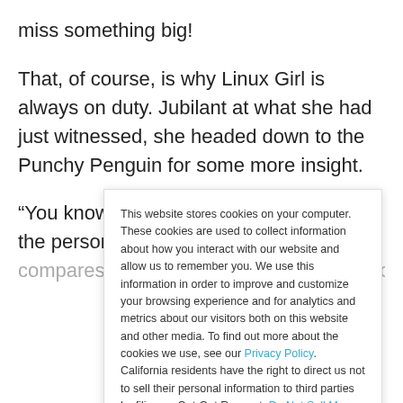miss something big!
That, of course, is why Linux Girl is always on duty. Jubilant at what she had just witnessed, she headed down to the Punchy Penguin for some more insight.
“You know an argument is shallow when the person making it compares his opponents to racists and racists.”
This website stores cookies on your computer. These cookies are used to collect information about how you interact with our website and allow us to remember you. We use this information in order to improve and customize your browsing experience and for analytics and metrics about our visitors both on this website and other media. To find out more about the cookies we use, see our Privacy Policy. California residents have the right to direct us not to sell their personal information to third parties by filing an Opt-Out Request: Do Not Sell My Personal Info.
Accept